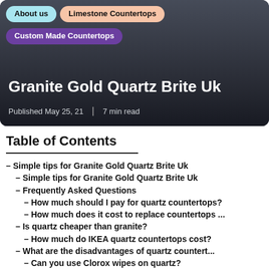[Figure (photo): Hero image of a kitchen with dark countertops and white cabinets, overlaid with navigation tags and article title. Tags: 'About us', 'Limestone Countertops', 'Custom Made Countertops'. Title: 'Granite Gold Quartz Brite Uk'. Meta: 'Published May 25, 21 | 7 min read']
Table of Contents
– Simple tips for Granite Gold Quartz Brite Uk
– Simple tips for Granite Gold Quartz Brite Uk
– Frequently Asked Questions
– How much should I pay for quartz countertops?
– How much does it cost to replace countertops ...
– Is quartz cheaper than granite?
– How much do IKEA quartz countertops cost?
– What are the disadvantages of quartz countert...
– Can you use Clorox wipes on quartz?
– What are the problems with quartz countertops